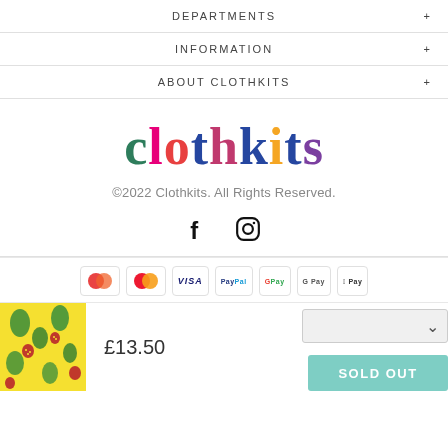DEPARTMENTS
INFORMATION
ABOUT CLOTHKITS
[Figure (logo): Clothkits colorful serif logo with multicolored letters]
©2022 Clothkits. All Rights Reserved.
[Figure (illustration): Facebook and Instagram social media icons]
[Figure (illustration): Payment method badges: Maestro, Mastercard, VISA, PayPal, Google Pay, G Pay, Apple Pay]
[Figure (photo): Product thumbnail: yellow fabric with colorful strawberry/fruit pattern]
£13.50
SOLD OUT